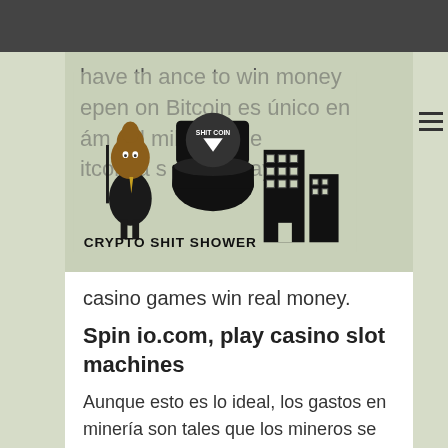[Figure (illustration): Crypto Shit Shower logo illustration with cartoon poop character in a suit, a toilet with 'Shit Coin' label, and city buildings, over a green-tinted background. Text partially visible: 'have the chance to win money', 'epen Bitcoin es único en', 'ánd sol millones de', 'itcoin a s ados, play']
casino games win real money.
Spin io.com, play casino slot machines
Aunque esto es lo ideal, los gastos en minería son tales que los mineros se esfuerzan por